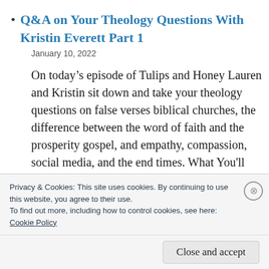Q&A on Your Theology Questions With Kristin Everett Part 1
January 10, 2022
On today's episode of Tulips and Honey Lauren and Kristin sit down and take your theology questions on false verses biblical churches, the difference between the word of faith and the prosperity gospel, and empathy, compassion, social media, and the end times. What You'll Hear on This Episode
Privacy & Cookies: This site uses cookies. By continuing to use this website, you agree to their use.
To find out more, including how to control cookies, see here:
Cookie Policy
Close and accept